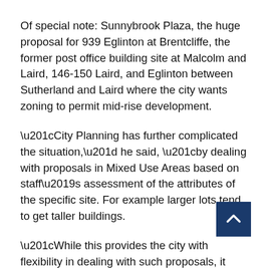Of special note: Sunnybrook Plaza, the huge proposal for 939 Eglinton at Brentcliffe, the former post office building site at Malcolm and Laird, 146-150 Laird, and Eglinton between Sutherland and Laird where the city wants zoning to permit mid-rise development.
“City Planning has further complicated the situation,” he said, “by dealing with proposals in Mixed Use Areas based on staff’s assessment of the attributes of the specific site. For example larger lots tend to get taller buildings.
“While this provides the city with flexibility in dealing with such proposals, it leaves the community without a clear sense of what is or is not permitted.
“Developers, in their efforts to maximize profits, will s… proposals which are taller and larger in scale than wha… appears to be the intent of the Official Plan. Unfortunately